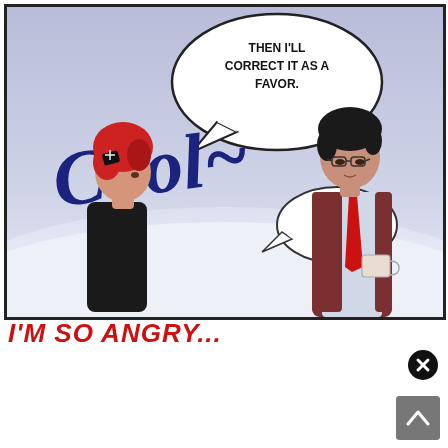[Figure (illustration): Manga/webtoon comic panel. Blue-purple gradient background with white snowy ground area. Left character: person with red hair and hair clip accessory, wearing black jacket, facing right. Right character: tall person with dark hair, glasses, wearing white shirt, burgundy vest, red tie, holding a cup. Large speech bubble top center reads 'THEN I'LL CORRECT IT AS A FAVOR.' Large stylized text 'Cool~' in dark blue in the middle of the panel. Small speech bubble near center-left with '...' inside. Both characters stand on white ground area.]
I'M SO ANGRY...
[Figure (illustration): Black circle with X icon (close button)]
[Figure (illustration): Gray square scroll-to-top button with upward arrow]